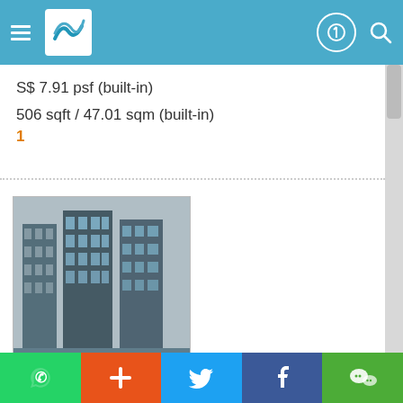[Figure (screenshot): Mobile app navigation bar with hamburger menu, logo, profile icon and search icon on teal/blue background]
S$ 7.91 psf (built-in)
506 sqft / 47.01 sqm (built-in)
1
[Figure (photo): Photo of UE Square building taken from below, showing a tall modern commercial/residential building with glass and concrete facade]
UE SQUARE for RENT
205 - 207 RIVER VALLEY ROAD
Recommend me an Agent
[Figure (screenshot): Bottom action bar with WhatsApp (green), Add/Plus (orange), Twitter (blue), Facebook (dark blue), and WeChat (green) buttons]